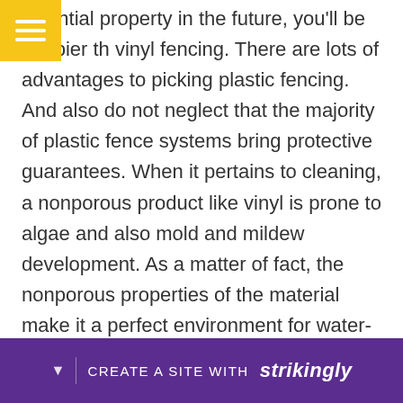sidential property in the future, you'll be happier th vinyl fencing. There are lots of advantages to picking plastic fencing. And also do not neglect that the majority of plastic fence systems bring protective guarantees. When it pertains to cleaning, a nonporous product like vinyl is prone to algae and also mold and mildew development. As a matter of fact, the nonporous properties of the material make it a perfect environment for water-hungry microorganisms. If you're fretted about the possibility of algae development on your fence, scrubbing it with dish soap and also water can eliminate the discolor.
CREATE A SITE WITH strikingly